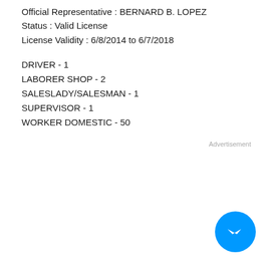Official Representative : BERNARD B. LOPEZ
Status : Valid License
License Validity : 6/8/2014 to 6/7/2018
DRIVER - 1
LABORER SHOP - 2
SALESLADY/SALESMAN - 1
SUPERVISOR - 1
WORKER DOMESTIC - 50
Advertisement
[Figure (illustration): Facebook Messenger chat button icon — blue circle with white lightning bolt messenger logo]